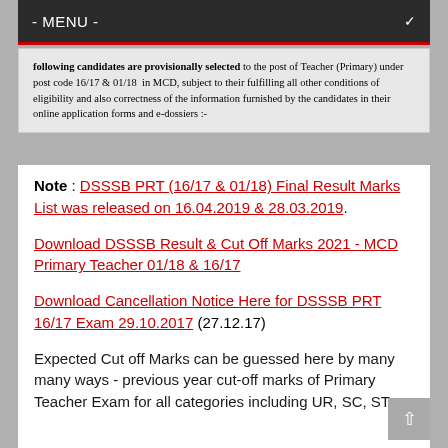- MENU -
[Figure (screenshot): Screenshot of a government document text stating: 'following candidates are provisionally selected to the post of Teacher (Primary) under post code 16/17 & 01/18 in MCD, subject to their fulfilling all other conditions of eligibility and also correctness of the information furnished by the candidates in their online application forms and e-dossiers :-']
Note : DSSSB PRT (16/17 & 01/18) Final Result Marks List was released on 16.04.2019 & 28.03.2019.
Download DSSSB Result & Cut Off Marks 2021 - MCD Primary Teacher 01/18 & 16/17
Download Cancellation Notice Here for DSSSB PRT 16/17 Exam 29.10.2017 (27.12.17)
Expected Cut off Marks can be guessed here by many many ways - previous year cut-off marks of Primary Teacher Exam for all categories including UR, SC, ST,